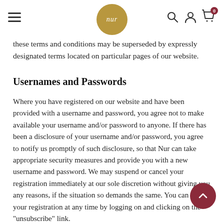nur — navigation bar with hamburger menu, logo, search, account, and cart icons
these terms and conditions may be superseded by expressly designated terms located on particular pages of our website.
Usernames and Passwords
Where you have registered on our website and have been provided with a username and password, you agree not to make available your username and/or password to anyone. If there has been a disclosure of your username and/or password, you agree to notify us promptly of such disclosure, so that Nur can take appropriate security measures and provide you with a new username and password. We may suspend or cancel your registration immediately at our sole discretion without giving you any reasons, if the situation so demands the same. You can cancel your registration at any time by logging on and clicking on the "unsubscribe" link.